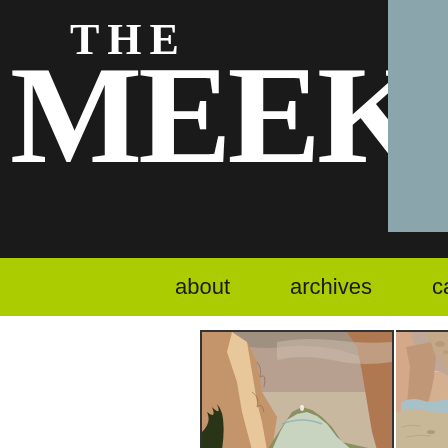THE MEEK
about   archives   cast
[Figure (illustration): Two comic panels showing a canyon landscape with red rock formations, a river, and desert scenery. Left panel shows tall canyon walls with a figure visible in the distance at the bottom. Right panel shows a wider aerial view of a canyon with a winding river.]